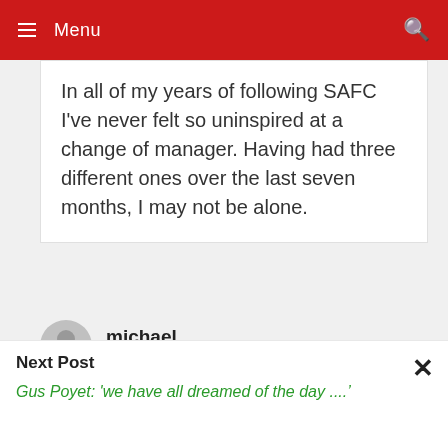Menu
In all of my years of following SAFC I've never felt so uninspired at a change of manager. Having had three different ones over the last seven months, I may not be alone.
michael
October 9, 2013 at 10:46 am
Never felt so uninspired at a change of
Next Post
Gus Poyet: 'we have all dreamed of the day ....'